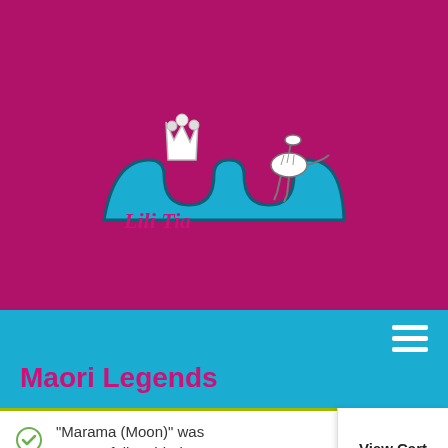[Figure (logo): Maori Legends website logo featuring a teal wave-like shape with a crown and dinosaur skeleton, on a magenta/pink background with stylized text]
Maori Legends
"Marama (Moon)" was successfully added to your cart.
View Cart